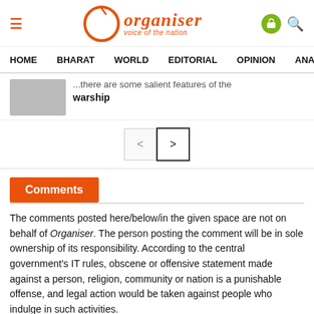Organiser — Voice of the Nation
HOME   BHARAT   WORLD   EDITORIAL   OPINION   ANA
...there are some salient features of the warship
< >
Comments
The comments posted here/below/in the given space are not on behalf of Organiser. The person posting the comment will be in sole ownership of its responsibility. According to the central government's IT rules, obscene or offensive statement made against a person, religion, community or nation is a punishable offense, and legal action would be taken against people who indulge in such activities.